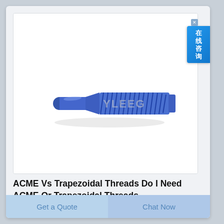[Figure (photo): Blue plastic threaded rod or screw with a smooth cylindrical grip on the left end and helical threads on the right portion, photographed diagonally on a white background. A faint watermark reads 'YLEEG' across the center.]
ACME Vs Trapezoidal Threads Do I Need ACME Or Trapezoidal Threads
Get a Quote
Chat Now